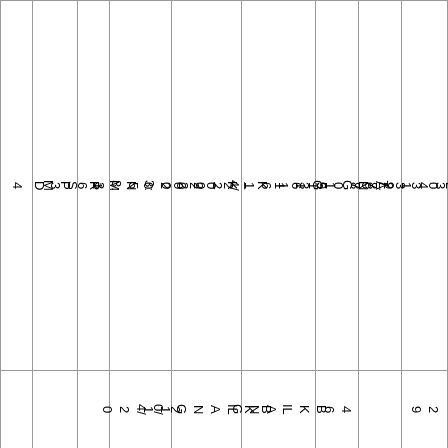| 4 | S3D | R | 4/2020
53:366PM | G1161K–2020NM1 | ANG11K–2020 | 277093 | 341988.5 | 282033​7.9 |
|  |  |  | 20/4/20 | BKILANG11 | BKILANG | 46 |  | 29 |